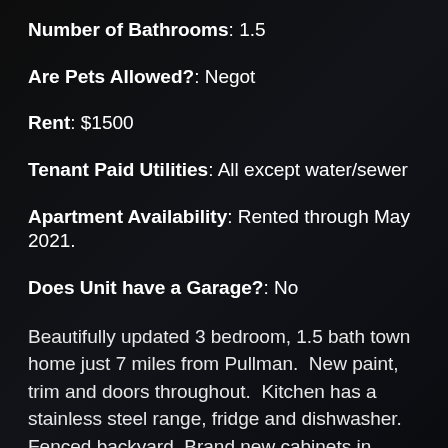Number of Bathrooms: 1.5
Are Pets Allowed?: Negot
Rent: $1500
Tenant Paid Utilities: All except water/sewer
Apartment Availability: Rented through May 2021.
Does Unit have a Garage?: No
Beautifully updated 3 bedroom, 1.5 bath town home just 7 miles from Pullman.  New paint, trim and doors throughout.  Kitchen has a stainless steel range, fridge and dishwasher.   Fenced backyard. Brand new cabinets in kitchen. 1 bath is fully remodeled. Pets negotiable with